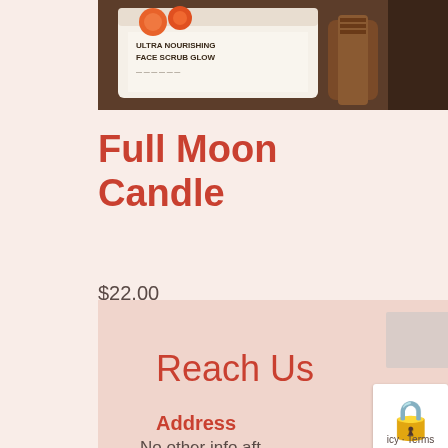[Figure (photo): Product photo showing a jar labeled 'Ultra Nourishing Face Scrub Glow' with orange fruit decorations and a wooden item beside it, partially cropped at top of page.]
Full Moon Candle
$22.00
Reach Us
Address
No other info after...